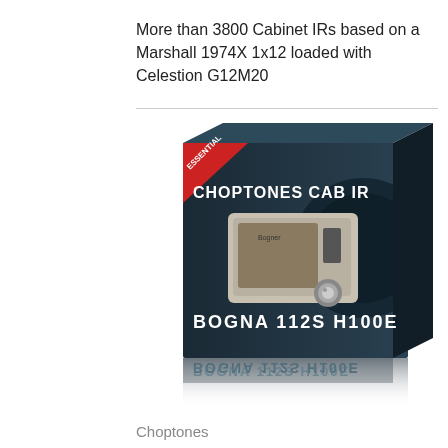More than 3800 Cabinet IRs based on a Marshall 1974X 1x12 loaded with Celestion G12M20
[Figure (photo): Product box art for Choptones Cab IR - Bogna 112S H100E. Dark box packaging with red 'Essential' corner banner, white text 'CHOPTONES CAB IR' and 'BOGNA 112S H100E', featuring an image of a guitar amplifier cabinet (Bogner) with a chrome knob. Reflection of the text is shown below the box.]
Choptones